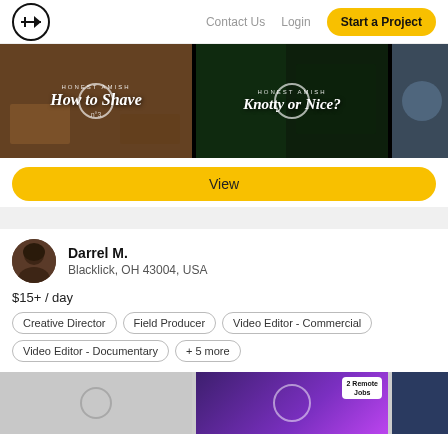Contact Us  Login  Start a Project
[Figure (screenshot): Video thumbnails: 'How to Shave' and 'Knotty or Nice?' videos with play circles]
View
Darrel M.
Blacklick, OH 43004, USA
$15+ / day
Creative Director
Field Producer
Video Editor - Commercial
Video Editor - Documentary
+ 5 more
[Figure (screenshot): Bottom row of video thumbnails including a '2 Remote Jobs' badge thumbnail]